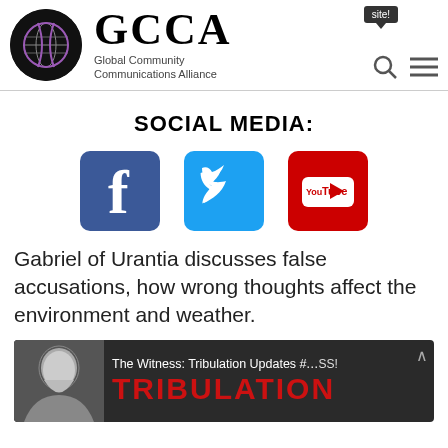GCCA Global Community Communications Alliance site!
SOCIAL MEDIA:
[Figure (infographic): Social media icons: Facebook, Twitter, YouTube]
Gabriel of Urantia discusses false accusations, how wrong thoughts affect the environment and weather.
[Figure (screenshot): Video thumbnail: The Witness: Tribulation Updates #... with text TRIBULATION in red]